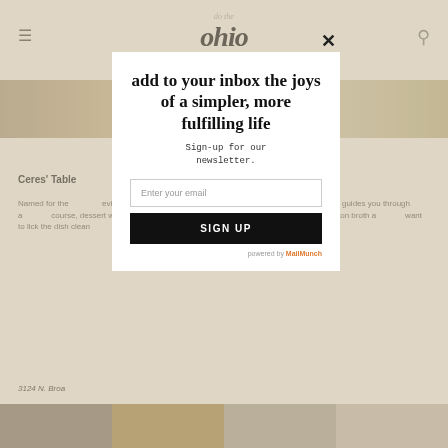do the ohio — navigation header with hamburger menu and search icon
[Figure (screenshot): Website banner image with tan/brown gradient background]
B... ...g (breadcrumb navigation, partially obscured)
Ceres' Table
Named for the... ...eview's Ceres' Table r... ...bold Italian dishes, Sicilia... ...enu guides you through a... ...course, dessert with d... ...Carpaccio, chewy Pici wit... ...ar laden with saffron broth a... ...want to lick the dish clean...
3124 N. Broa...
add to your inbox the joys of a simpler, more fulfilling life
Sign-up for our newsletter.
Enter your email
SIGN UP
powered by MailMunch
[Figure (screenshot): Row of four thumbnail images at bottom of page]